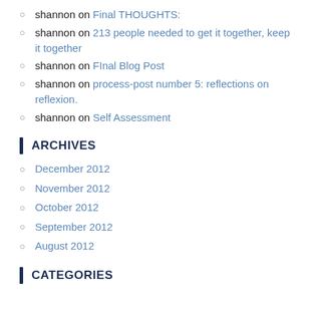shannon on Final THOUGHTS:
shannon on 213 people needed to get it together, keep it together
shannon on FInal Blog Post
shannon on process-post number 5: reflections on reflexion.
shannon on Self Assessment
ARCHIVES
December 2012
November 2012
October 2012
September 2012
August 2012
CATEGORIES